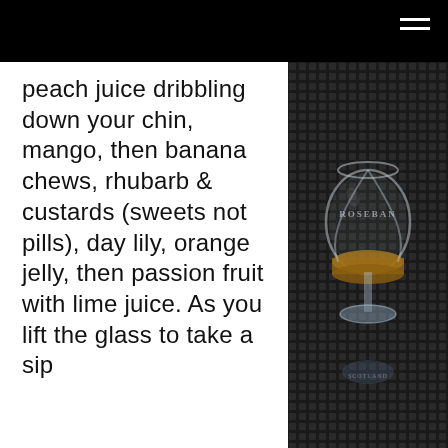peach juice dribbling down your chin, mango, then banana chews, rhubarb & custards (sweets not pills), day lily, orange jelly, then passion fruit with lime juice. As you lift the glass to take a sip
[Figure (photo): A Glencairn whisky glass with amber-colored whisky, engraved with 'ROSEBAN' text, photographed against a dark grid/mesh background]